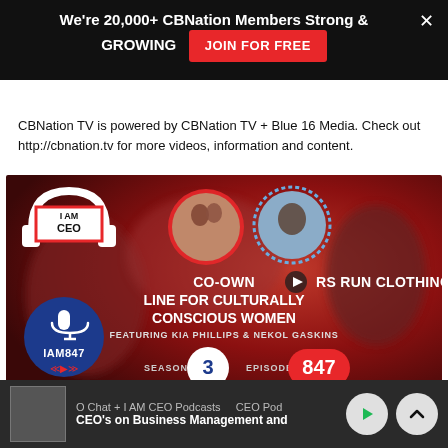We're 20,000+ CBNation Members Strong & GROWING  JOIN FOR FREE
CBNation TV is powered by CBNation TV + Blue 16 Media. Check out http://cbnation.tv for more videos, information and content.
[Figure (screenshot): I AM CEO podcast episode thumbnail. Episode IAM847, Season 3, Episode 847. Title: CO-OWNERS RUN CLOTHING LINE FOR CULTURALLY CONSCIOUS WOMEN. Featuring Kia Phillips & Nekol Gaskins. Shows two women in a red circle and a man in a blue dotted circle. I AM CEO logo with headphones. Streaming platform icons for Spotify, Apple Podcasts, Google Play Music, and YouTube Subscribe button.]
O Chat + I AM CEO Podcasts   CEO Pod   CEO's on Business Management and